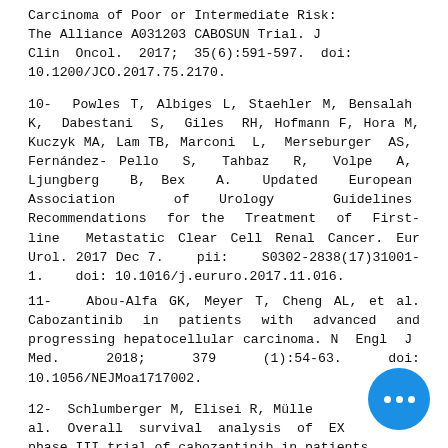Carcinoma of Poor or Intermediate Risk: The Alliance A031203 CABOSUN Trial. J Clin Oncol. 2017; 35(6):591-597. doi: 10.1200/JCO.2017.75.2170.
10- Powles T, Albiges L, Staehler M, Bensalah K, Dabestani S, Giles RH, Hofmann F, Hora M, Kuczyk MA, Lam TB, Marconi L, Merseburger AS, Fernández-Pello S, Tahbaz R, Volpe A, Ljungberg B, Bex A. Updated European Association of Urology Guidelines Recommendations for the Treatment of First-line Metastatic Clear Cell Renal Cancer. Eur Urol. 2017 Dec 7. pii: S0302-2838(17)31001-1. doi: 10.1016/j.eururo.2017.11.016.
11- Abou-Alfa GK, Meyer T, Cheng AL, et al. Cabozantinib in patients with advanced and progressing hepatocellular carcinoma. N Engl J Med. 2018; 379 (1):54-63. doi: 10.1056/NEJMoa1717002.
12- Schlumberger M, Elisei R, Müller... al. Overall survival analysis of EX... phase III trial of cabozantinib in patients